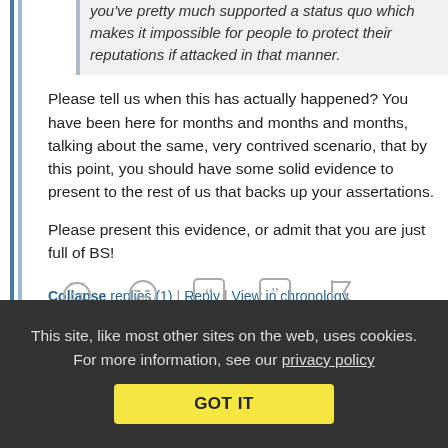you've pretty much supported a status quo which makes it impossible for people to protect their reputations if attacked in that manner.
Please tell us when this has actually happened? You have been here for months and months and months, talking about the same, very contrived scenario, that by this point, you should have some solid evidence to present to the rest of us that backs up your assertations.
Please present this evidence, or admit that you are just full of BS!
Collapse replies (1) | Reply | View in chronology
[Figure (illustration): Row of comment action icons: smiley with dots, laughing face, open quote, close quote, flag]
This site, like most other sites on the web, uses cookies. For more information, see our privacy policy
GOT IT